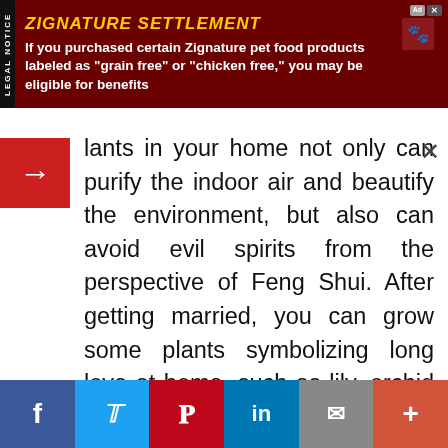[Figure (infographic): Legal notice advertisement banner for Zignature Settlement in dark red/maroon background with yellow title text and white body text]
Plants in your home not only can purify the indoor air and beautify the environment, but also can avoid evil spirits from the perspective of Feng Shui. After getting married, you can grow some plants symbolizing long love at home, such as lily, orchid and evergreen. Generally, you should put them in the living room, opposite the bed or on the table. However, you should avoid too many flowers, especially dried flowers; too many fresh flowers may lead to the illegal love affair of you or your love while the dried flowers may lead your relationship to decline, thus of
[Figure (infographic): Social media sharing bar at bottom with Facebook, Twitter, Pinterest, LinkedIn, Email, and Plus buttons]